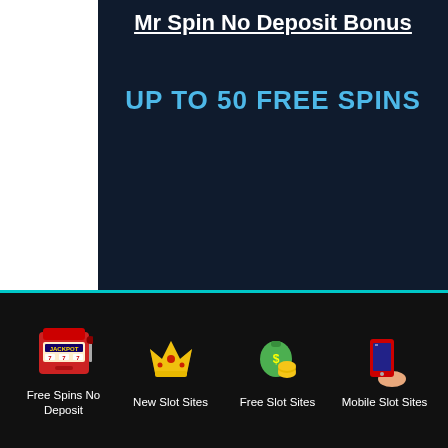Mr Spin No Deposit Bonus
UP TO 50 FREE SPINS
CLAIM
18+. New Players only. Up to 50 (20p) free spins locked to Reel Royalty. Win paid as bonus credit. 40x wagering requirement. 14
[Figure (infographic): Bottom navigation bar with four icons: slot machine (Jackpot 777) for Free Spins No Deposit, crown for New Slot Sites, money bag/coins for Free Slot Sites, mobile phone for Mobile Slot Sites]